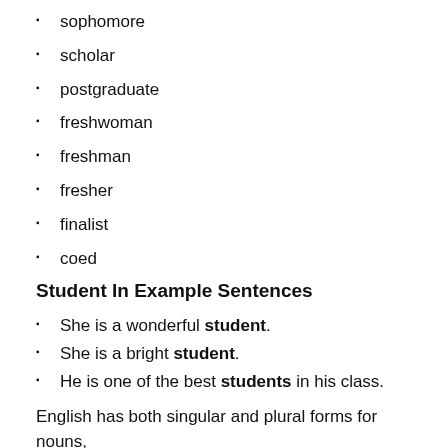sophomore
scholar
postgraduate
freshwoman
freshman
fresher
finalist
coed
Student In Example Sentences
She is a wonderful student.
She is a bright student.
He is one of the best students in his class.
English has both singular and plural forms for nouns, pronouns, adjectives and verbs. Understanding when to